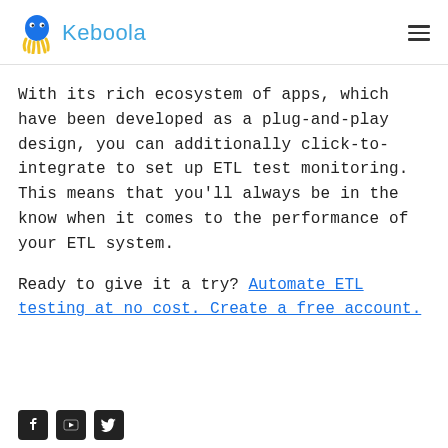Keboola
With its rich ecosystem of apps, which have been developed as a plug-and-play design, you can additionally click-to-integrate to set up ETL test monitoring. This means that you'll always be in the know when it comes to the performance of your ETL system.
Ready to give it a try? Automate ETL testing at no cost. Create a free account.
[Figure (logo): Three social media icons (Facebook, YouTube, Twitter) at the bottom left]